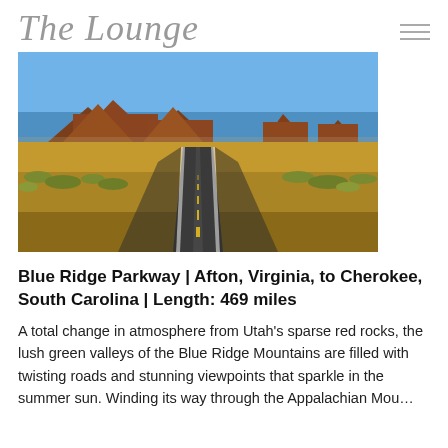The Lounge
[Figure (photo): A long straight road leading toward dramatic red rock buttes and mesas under a clear blue sky, with desert scrubland on both sides — Monument Valley, Utah.]
Blue Ridge Parkway | Afton, Virginia, to Cherokee, South Carolina | Length: 469 miles
A total change in atmosphere from Utah's sparse red rocks, the lush green valleys of the Blue Ridge Mountains are filled with twisting roads and stunning viewpoints that sparkle in the summer sun. Winding its way through the Appalachian Mountains, both the Great Smoky...